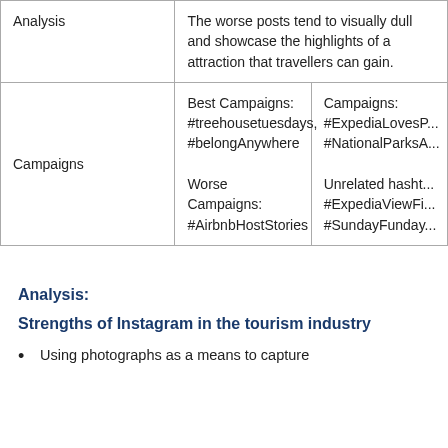|  |  |  |
| --- | --- | --- |
| Analysis | The worse posts tend to visually dull and showcase the highlights of a attraction that travellers can gain. |  |
| Campaigns | Best Campaigns: #treehousetuesdays, #belongAnywhere

Worse Campaigns: #AirbnbHostStories | Campaigns: #ExpediaLovesP... #NationalParksA...

Unrelated hasht... #ExpediaViewFi... #SundayFunday... |
Analysis:
Strengths of Instagram in the tourism industry
Using photographs as a means to capture